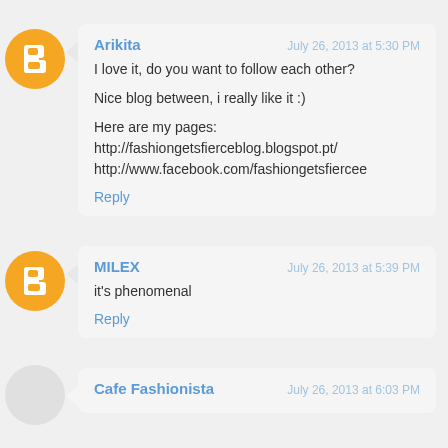Arikita — July 26, 2013 at 5:30 PM
I love it, do you want to follow each other?

Nice blog between, i really like it :)

Here are my pages:
http://fashiongetsfierceblog.blogspot.pt/
http://www.facebook.com/fashiongetsfiercee
Reply
MILEX — July 26, 2013 at 5:39 PM
it's phenomenal
Reply
Cafe Fashionista — July 26, 2013 at 6:03 PM